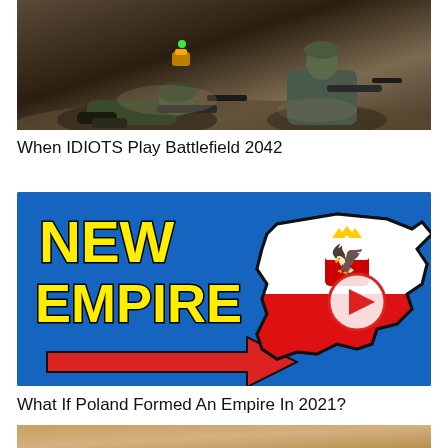[Figure (photo): Video thumbnail showing soldiers/military figures in action, dark earthy tones, Battlefield 2042 game footage]
When IDIOTS Play Battlefield 2042
[Figure (infographic): YouTube video thumbnail with blue background showing text 'NEW EMPIRE' in yellow bold letters, a red arrow pointing right toward a map outline with the Polish flag and coat of arms (white eagle on red). Title reads 'What If Poland Formed An Empire In 2021?']
What If Poland Formed An Empire In 2021?
[Figure (photo): Partial view of a video thumbnail, warm tan/brown tones, partially cut off at bottom of page]